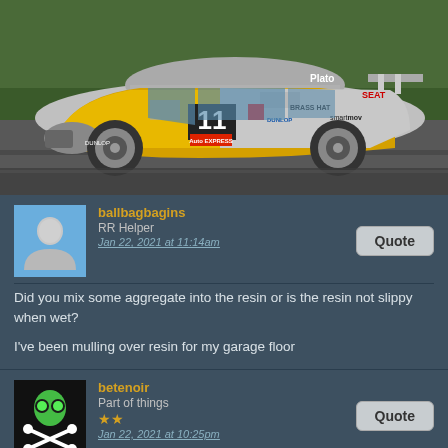[Figure (photo): Racing car number 11, yellow and silver SEAT Leon with Dunlop, Auto Express, BRASS HAT, smartmov sponsorship, driven by Plato, on a racing circuit]
ballbagbagins
RR Helper
Jan 22, 2021 at 11:14am
Did you mix some aggregate into the resin or is the resin not slippy when wet?

I've been mulling over resin for my garage floor
betenoir
Part of things
Jan 22, 2021 at 10:25pm
ballbagbagins